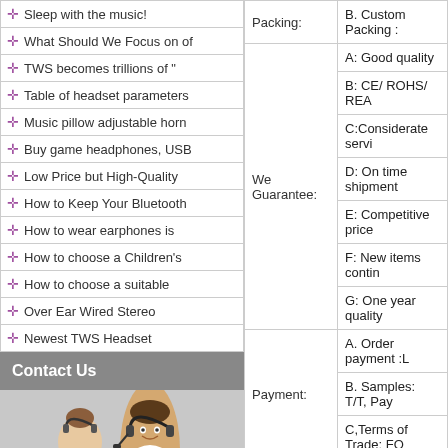Sleep with the music!
What Should We Focus on of
TWS becomes trillions of "
Table of headset parameters
Music pillow adjustable horn
Buy game headphones, USB
Low Price but High-Quality
How to Keep Your Bluetooth
How to wear earphones is
How to choose a Children's
How to choose a suitable
Over Ear Wired Stereo
Newest TWS Headset
Contact Us
[Figure (photo): Customer service representatives wearing headsets, smiling]
| Packing: | B. Custom Packing : |
| We Guarantee: | A: Good quality |
| We Guarantee: | B: CE/ ROHS/ REA |
| We Guarantee: | C:Considerate servi |
| We Guarantee: | D: On time shipment |
| We Guarantee: | E: Competitive price |
| We Guarantee: | F: New items contin |
| We Guarantee: | G: One year quality |
| Payment: | A. Order payment :L |
| Payment: | B. Samples: T/T, Pay |
| Payment: | C,Terms of Trade: FO |
|  | Headphone / Earph |